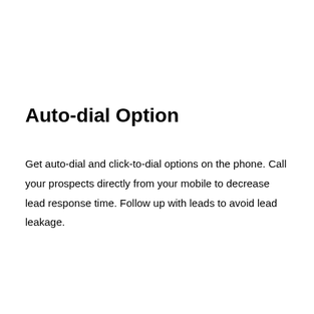Auto-dial Option
Get auto-dial and click-to-dial options on the phone. Call your prospects directly from your mobile to decrease lead response time. Follow up with leads to avoid lead leakage.